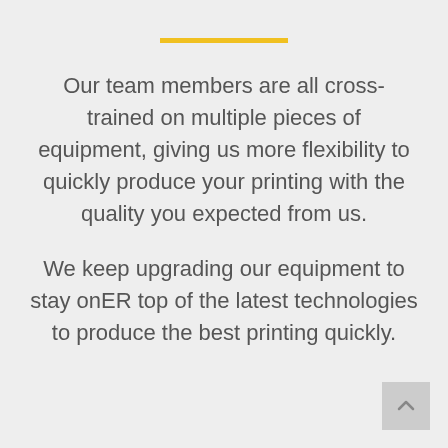[Figure (other): Yellow horizontal decorative line divider]
Our team members are all cross-trained on multiple pieces of equipment, giving us more flexibility to quickly produce your printing with the quality you expected from us.
We keep upgrading our equipment to stay onER top of the latest technologies to produce the best printing quickly.